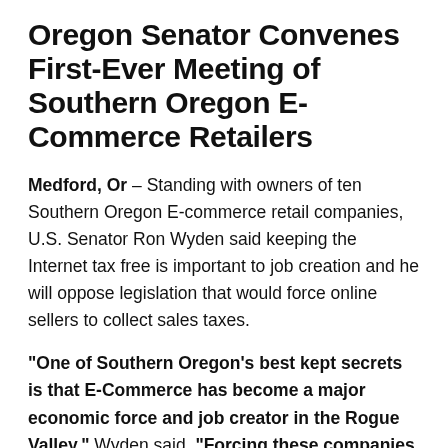Oregon Senator Convenes First-Ever Meeting of Southern Oregon E-Commerce Retailers
Medford, Or – Standing with owners of ten Southern Oregon E-commerce retail companies, U.S. Senator Ron Wyden said keeping the Internet tax free is important to job creation and he will oppose legislation that would force online sellers to collect sales taxes.
"One of Southern Oregon's best kept secrets is that E-Commerce has become a major economic force and job creator in the Rogue Valley," Wyden said. "Forcing these companies to become tax collectors amounts to bureaucratic water torture."